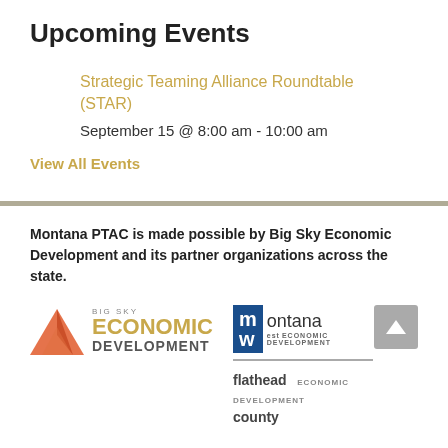Upcoming Events
Strategic Teaming Alliance Roundtable (STAR)
September 15 @ 8:00 am - 10:00 am
View All Events
Montana PTAC is made possible by Big Sky Economic Development and its partner organizations across the state.
[Figure (logo): Big Sky Economic Development logo with orange mountain icon and text]
[Figure (logo): Montana West Economic Development logo in blue box]
[Figure (logo): Flathead County Economic Development logo]